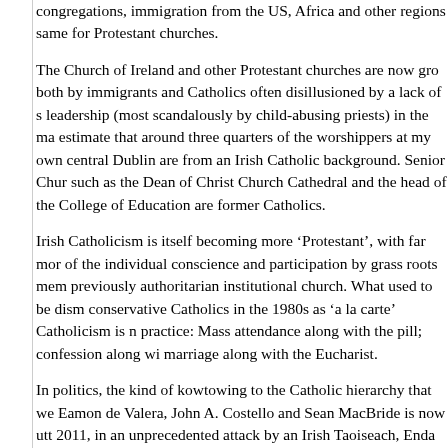congregations, immigration from the US, Africa and other regions same for Protestant churches.
The Church of Ireland and other Protestant churches are now growing, both by immigrants and Catholics often disillusioned by a lack of strong leadership (most scandalously by child-abusing priests) in the mass. I estimate that around three quarters of the worshippers at my own church in central Dublin are from an Irish Catholic background. Senior Church clergy such as the Dean of Christ Church Cathedral and the head of the Church of Ireland College of Education are former Catholics.
Irish Catholicism is itself becoming more ‘Protestant’, with far more respect of the individual conscience and participation by grass roots members in the previously authoritarian institutional church. What used to be dismissed by conservative Catholics in the 1980s as ‘a la carte’ Catholicism is now normal practice: Mass attendance along with the pill; confession along with remarriage along with the Eucharist.
In politics, the kind of kowtowing to the Catholic hierarchy that we saw with Eamon de Valera, John A. Costello and Sean MacBride is now unthinkable. In 2011, in an unprecedented attack by an Irish Taoiseach, Enda Kenny accused the Vatican of downplaying the clerical rape and torture of children in the Diocese of Cork to protect the institutional church’s power and reputation. Foreign Minister Eamon Gilmore followed this by closing the Irish embassy to the Vatican as a cost-cutting measure (although it has since reopened as a one-woman